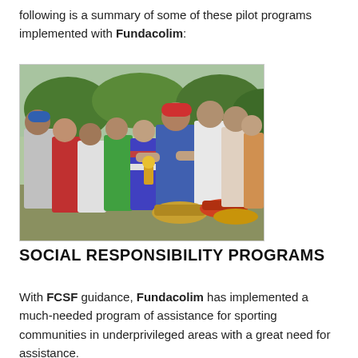following is a summary of some of these pilot programs implemented with Fundacolim:
[Figure (photo): Outdoor scene showing a group of children and an older man in a red baseball cap distributing or sharing items, possibly food in bowls, at what appears to be a community sporting or outdoor event.]
SOCIAL RESPONSIBILITY PROGRAMS
With FCSF guidance, Fundacolim has implemented a much-needed program of assistance for sporting communities in underprivileged areas with a great need for assistance.